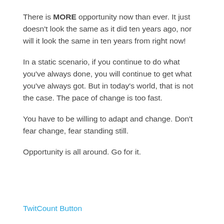There is MORE opportunity now than ever. It just doesn't look the same as it did ten years ago, nor will it look the same in ten years from right now!
In a static scenario, if you continue to do what you've always done, you will continue to get what you've always got. But in today's world, that is not the case. The pace of change is too fast.
You have to be willing to adapt and change. Don't fear change, fear standing still.
Opportunity is all around. Go for it.
TwitCount Button